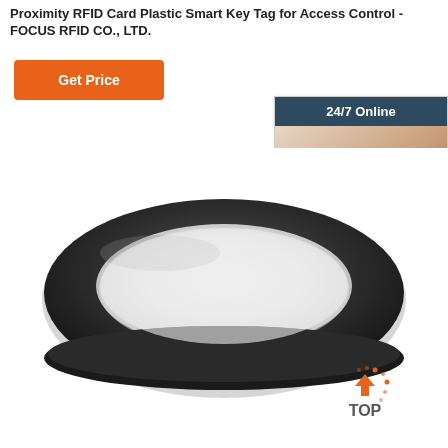Proximity RFID Card Plastic Smart Key Tag for Access Control - FOCUS RFID CO., LTD.
[Figure (other): Orange 'Get Price' button]
[Figure (other): 24/7 Online chat panel with photo of woman wearing headset, 'Click here for free chat!' text, and orange QUOTATION button]
[Figure (photo): Black RFID silicone wristband product photo on white background with TOP badge in bottom right corner]